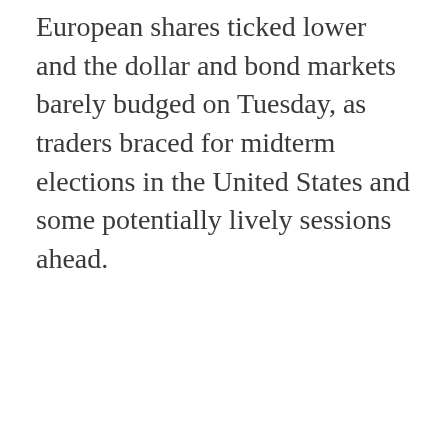European shares ticked lower and the dollar and bond markets barely budged on Tuesday, as traders braced for midterm elections in the United States and some potentially lively sessions ahead.